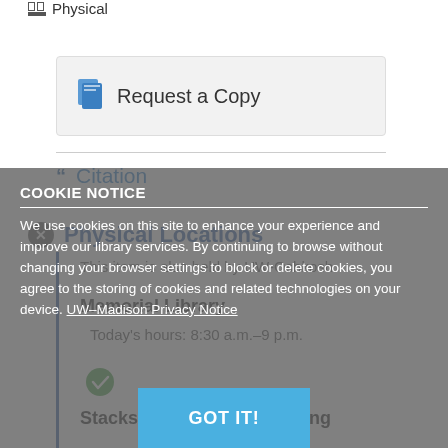Physical
Request a Copy
Citation
Physical Locations
This item is also held by UW-Oshkosh
Memorial Library
Today's hours: 8:30 a.m.–9 p.m.
Stacks Regular Size Shelving
COOKIE NOTICE
We use cookies on this site to enhance your experience and improve our library services. By continuing to browse without changing your browser settings to block or delete cookies, you agree to the storing of cookies and related technologies on your device. UW–Madison Privacy Notice
GOT IT!